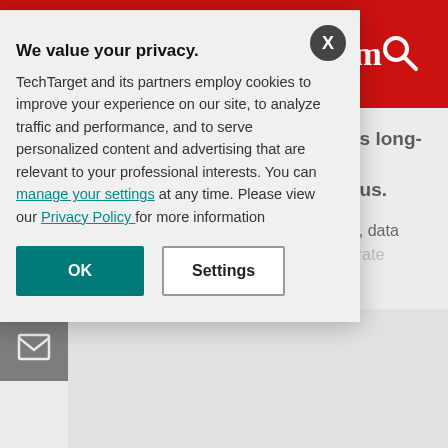ComputerWeekly.com
ScottishPower has extended its long-running communications infrastructure contract with Thus.
The network carries all corporate voice, data and internet traffic, and provides corporate applications and companies throu...
We value your privacy. TechTarget and its partners employ cookies to improve your experience on our site, to analyze traffic and performance, and to serve personalized content and advertising that are relevant to your professional interests. You can manage your settings at any time. Please view our Privacy Policy for more information